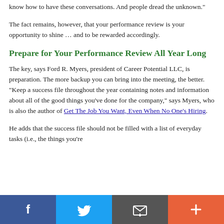know how to have these conversations. And people dread the unknown."
The fact remains, however, that your performance review is your opportunity to shine ... and to be rewarded accordingly.
Prepare for Your Performance Review All Year Long
The key, says Ford R. Myers, president of Career Potential LLC, is preparation. The more backup you can bring into the meeting, the better. "Keep a success file throughout the year containing notes and information about all of the good things you've done for the company," says Myers, who is also the author of Get The Job You Want, Even When No One's Hiring.
He adds that the success file should not be filled with a list of everyday tasks (i.e., the things you're
[Figure (infographic): Social sharing bar with four buttons: Facebook (blue), Twitter (light blue), Email/envelope (dark gray), and Plus/more (orange-red)]